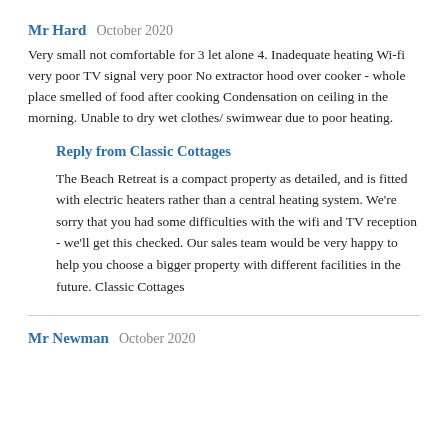Mr Hard   October 2020
Very small not comfortable for 3 let alone 4. Inadequate heating Wi-fi very poor TV signal very poor No extractor hood over cooker - whole place smelled of food after cooking Condensation on ceiling in the morning. Unable to dry wet clothes/ swimwear due to poor heating.
Reply from Classic Cottages
The Beach Retreat is a compact property as detailed, and is fitted with electric heaters rather than a central heating system. We're sorry that you had some difficulties with the wifi and TV reception - we'll get this checked. Our sales team would be very happy to help you choose a bigger property with different facilities in the future. Classic Cottages
Mr Newman   October 2020